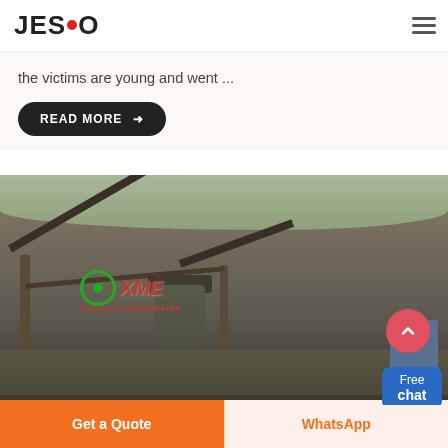JESCO
the victims are young and went ...
READ MORE →
[Figure (photo): Industrial mining/quarry site with conveyor belts, silos, and heavy machinery against a rocky hillside backdrop. XME logo overlay visible in red and green on the machinery.]
Free chat
Get a Quote
WhatsApp